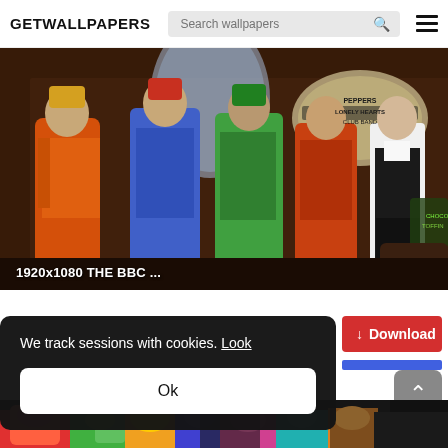GETWALLPAPERS
[Figure (screenshot): A website screenshot showing a wallpaper site header with logo 'GETWALLPAPERS', a search bar with placeholder 'Search wallpapers', and a hamburger menu icon.]
[Figure (photo): A photo showing figures in colorful Sgt. Pepper-style costumes with a man in a black vest and white shirt standing in front of a 'Sgt. Pepper's Lonely Hearts Club Band' sign.]
1920x1080 THE BBC ...
We track sessions with cookies. Look
Ok
↓ Download